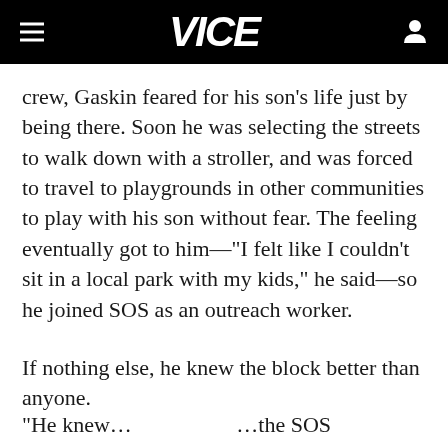VICE
crew, Gaskin feared for his son's life just by being there. Soon he was selecting the streets to walk down with a stroller, and was forced to travel to playgrounds in other communities to play with his son without fear. The feeling eventually got to him—"I felt like I couldn't sit in a local park with my kids," he said—so he joined SOS as an outreach worker.
If nothing else, he knew the block better than anyone.
"He knew...